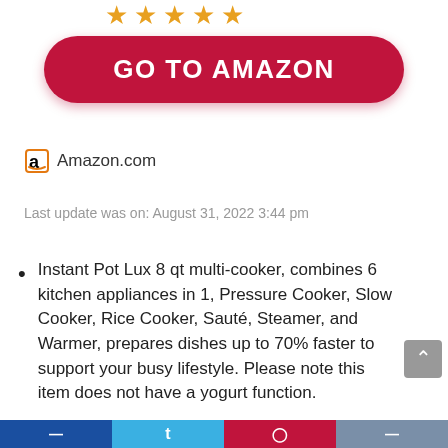[Figure (other): Five gold star rating icons displayed in a row]
[Figure (other): Red pill-shaped button with white uppercase text GO TO AMAZON]
[Figure (logo): Amazon logo (stylized lowercase a with arrow) next to text Amazon.com]
Last update was on: August 31, 2022 3:44 pm
Instant Pot Lux 8 qt multi-cooker, combines 6 kitchen appliances in 1, Pressure Cooker, Slow Cooker, Rice Cooker, Sauté, Steamer, and Warmer, prepares dishes up to 70% faster to support your busy lifestyle. Please note this item does not have a yogurt function.
3 adjustable modes saute your meals to perfection with less, normal and more (low, medium, high) setting
[Figure (other): Bottom navigation bar with social share icons on colored backgrounds: dark blue, light blue, red/pink, gray]